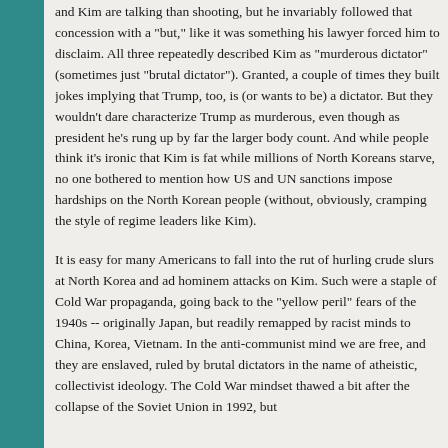and Kim are talking than shooting, but he invariably followed that concession with a "but," like it was something his lawyer forced him to disclaim. All three repeatedly described Kim as "murderous dictator" (sometimes just "brutal dictator"). Granted, a couple of times they built jokes implying that Trump, too, is (or wants to be) a dictator. But they wouldn't dare characterize Trump as murderous, even though as president he's rung up by far the larger body count. And while people think it's ironic that Kim is fat while millions of North Koreans starve, no one bothered to mention how US and UN sanctions impose hardships on the North Korean people (without, obviously, cramping the style of regime leaders like Kim).
It is easy for many Americans to fall into the rut of hurling crude slurs at North Korea and ad hominem attacks on Kim. Such were a staple of Cold War propaganda, going back to the "yellow peril" fears of the 1940s -- originally Japan, but readily remapped by racist minds to China, Korea, Vietnam. In the anti-communist mind we are free, and they are enslaved, ruled by brutal dictators in the name of atheistic, collectivist ideology. The Cold War mindset thawed a bit after the collapse of the Soviet Union in 1992, but